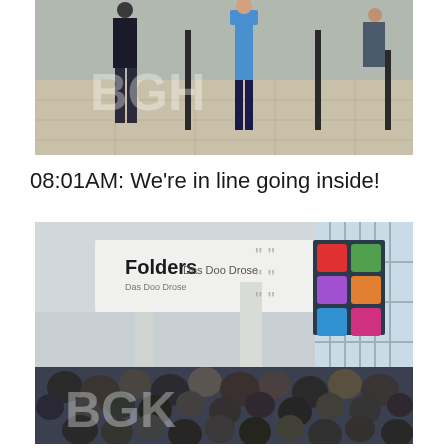[Figure (photo): People standing in a queue line indoors, marble/tile floor visible, roped line barriers, BGH watermark visible]
08:01AM: We're in line going inside!
[Figure (photo): Interior of a large convention hall with people crowded inside, large hanging banner showing 'Folders' text and app icons, tall windows with natural light, BGK watermark visible]